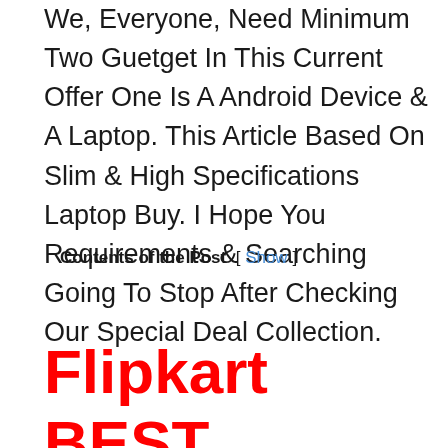We, Everyone, Need Minimum Two Guetget In This Current Offer One Is A Android Device & A Laptop. This Article Based On Slim & High Specifications Laptop Buy. I Hope You Requirements & Searching Going To Stop After Checking Our Special Deal Collection.
Contents of the Post [ Show ]
Flipkart BEST Laptop Offer